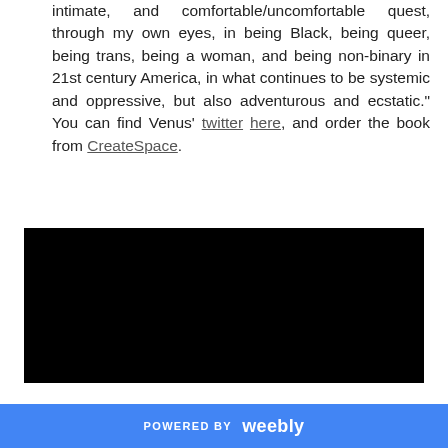intimate, and comfortable/uncomfortable quest, through my own eyes, in being Black, being queer, being trans, being a woman, and being non-binary in 21st century America, in what continues to be systemic and oppressive, but also adventurous and ecstatic." You can find Venus' twitter here, and order the book from CreateSpace.
[Figure (other): Embedded video player area, shown as black rectangle]
POWERED BY weebly